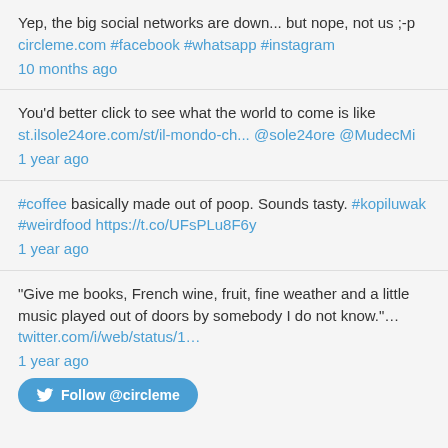Yep, the big social networks are down... but nope, not us ;-p circleme.com #facebook #whatsapp #instagram 10 months ago
You'd better click to see what the world to come is like st.ilsole24ore.com/st/il-mondo-ch... @sole24ore @MudecMi 1 year ago
#coffee basically made out of poop. Sounds tasty. #kopiluwak #weirdfood https://t.co/UFsPLu8F6y 1 year ago
“Give me books, French wine, fruit, fine weather and a little music played out of doors by somebody I do not know.”... twitter.com/i/web/status/1... 1 year ago